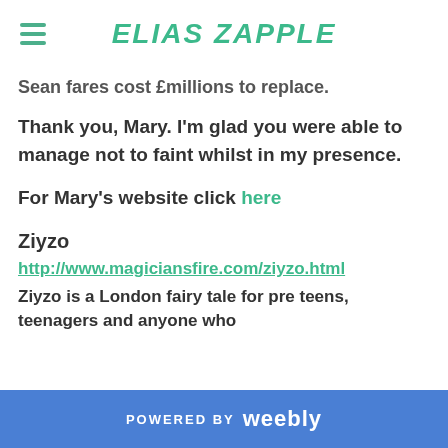ELIAS ZAPPLE
Sean fares cost £millions to replace.
Thank you, Mary. I'm glad you were able to manage not to faint whilst in my presence.
For Mary's website click here
Ziyzo
http://www.magiciansfire.com/ziyzo.html
Ziyzo is a London fairy tale for pre teens, teenagers and anyone who
POWERED BY weebly